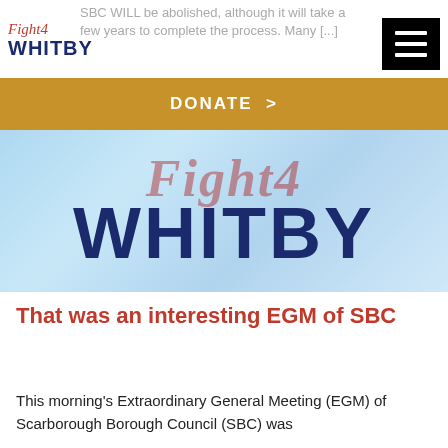SBC WILL be abolished, although it will take a few years to complete the process. Many [...]
[Figure (logo): Fight4Whitby logo with italic script 'Fight4' in red and bold 'WHITBY' in navy blue]
[Figure (other): Hamburger menu icon: three white horizontal lines on black background]
DONATE >
[Figure (illustration): Fight4Whitby banner image with water/splash background. Italic red 'Fight4' text overlaid with large navy 'WHITBY' text below.]
That was an interesting EGM of SBC
This morning's Extraordinary General Meeting (EGM) of Scarborough Borough Council (SBC) was